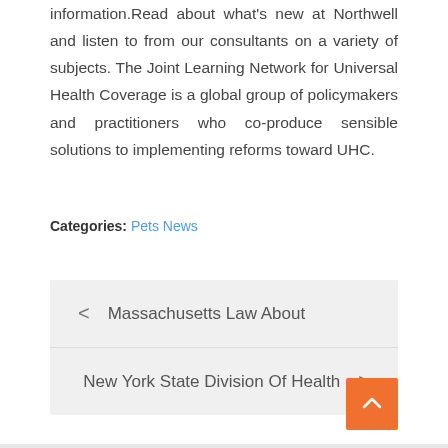information.Read about what's new at Northwell and listen to from our consultants on a variety of subjects. The Joint Learning Network for Universal Health Coverage is a global group of policymakers and practitioners who co-produce sensible solutions to implementing reforms toward UHC.
Categories: Pets News
< Massachusetts Law About
New York State Division Of Health >